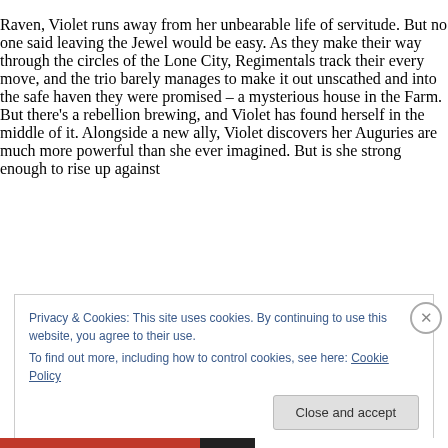Raven, Violet runs away from her unbearable life of servitude. But no one said leaving the Jewel would be easy. As they make their way through the circles of the Lone City, Regimentals track their every move, and the trio barely manages to make it out unscathed and into the safe haven they were promised – a mysterious house in the Farm. But there's a rebellion brewing, and Violet has found herself in the middle of it. Alongside a new ally, Violet discovers her Auguries are much more powerful than she ever imagined. But is she strong enough to rise up against
Privacy & Cookies: This site uses cookies. By continuing to use this website, you agree to their use.
To find out more, including how to control cookies, see here: Cookie Policy
Close and accept